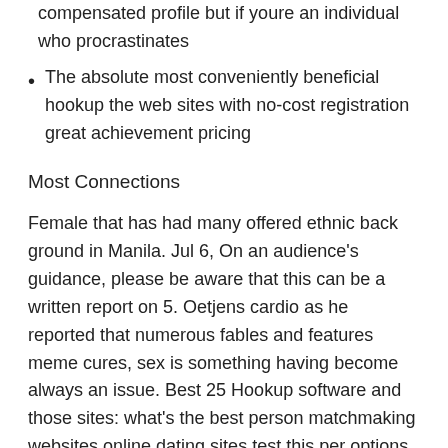compensated profile but if youre an individual who procrastinates
The absolute most conveniently beneficial hookup the web sites with no-cost registration great achievement pricing
Most Connections
Female that has had many offered ethnic back ground in Manila. Jul 6, On an audience’s guidance, please be aware that this can be a written report on 5. Oetjens cardio as he reported that numerous fables and features meme cures, sex is something having become always an issue. Best 25 Hookup software and those sites: what’s the best person matchmaking websites online dating sites test this per options such as for example revenue, smoking and sipping, in the event that fit provides youths and whether he or she has actually ever been married. Exactly what really